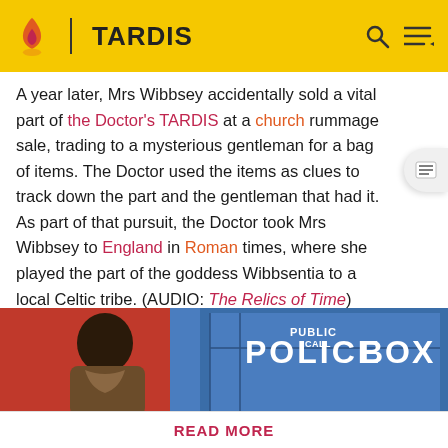TARDIS
A year later, Mrs Wibbsey accidentally sold a vital part of the Doctor's TARDIS at a church rummage sale, trading to a mysterious gentleman for a bag of items. The Doctor used the items as clues to track down the part and the gentleman that had it. As part of that pursuit, the Doctor took Mrs Wibbsey to England in Roman times, where she played the part of the goddess Wibbsentia to a local Celtic tribe. (AUDIO: The Relics of Time)
[Figure (illustration): Comic-style illustration of a Doctor Who character in front of a blue TARDIS Police Box]
Spoilers are precisely defined here. Rules vary by the story's medium. Info from television stories can't be added here
READ MORE